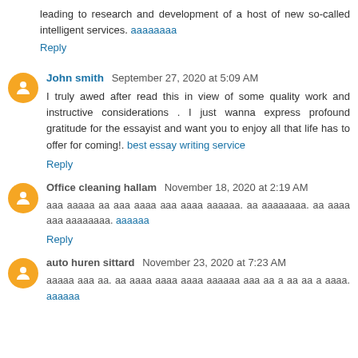leading to research and development of a host of new so-called intelligent services. [link]
Reply
John smith  September 27, 2020 at 5:09 AM
I truly awed after read this in view of some quality work and instructive considerations . I just wanna express profound gratitude for the essayist and want you to enjoy all that life has to offer for coming!. best essay writing service
Reply
Office cleaning hallam  November 18, 2020 at 2:19 AM
[non-latin text] [link]
Reply
auto huren sittard  November 23, 2020 at 7:23 AM
[non-latin text] [link]